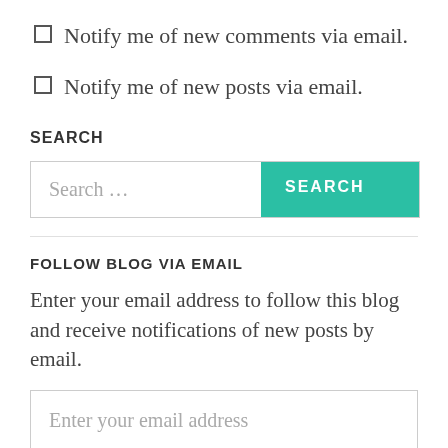Notify me of new comments via email.
Notify me of new posts via email.
SEARCH
Search ...
FOLLOW BLOG VIA EMAIL
Enter your email address to follow this blog and receive notifications of new posts by email.
Enter your email address